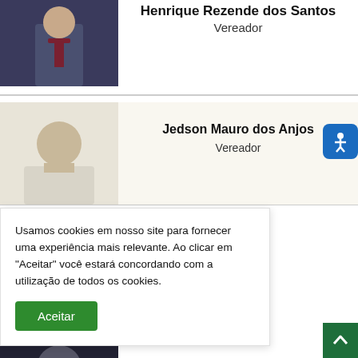[Figure (photo): Portrait photo of a young man in a dark suit with red tie, cropped at top]
Henrique Rezende dos Santos
Vereador
[Figure (photo): Portrait photo of a man in a light shirt, light background]
Jedson Mauro dos Anjos
Vereador
[Figure (illustration): Accessibility icon button - blue rounded square with hand/wave symbol]
Usamos cookies em nosso site para fornecer uma experiência mais relevante. Ao clicar em "Aceitar" você estará concordando com a utilização de todos os cookies.
Aceitar
...riano
[Figure (photo): Partial portrait photo at bottom of page, dark background]
[Figure (illustration): Back to top button - dark green square with upward arrow]